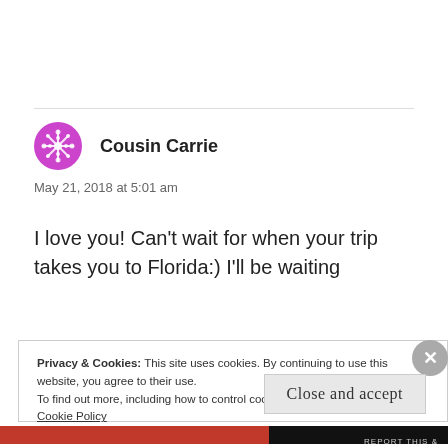Cousin Carrie
May 21, 2018 at 5:01 am
I love you! Can't wait for when your trip takes you to Florida:) I'll be waiting
Privacy & Cookies: This site uses cookies. By continuing to use this website, you agree to their use.
To find out more, including how to control cookies, see here:
Cookie Policy
Close and accept